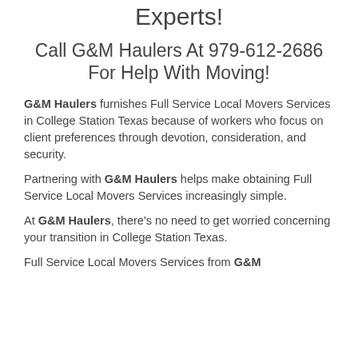Experts!
Call G&M Haulers At 979-612-2686 For Help With Moving!
G&M Haulers furnishes Full Service Local Movers Services in College Station Texas because of workers who focus on client preferences through devotion, consideration, and security.
Partnering with G&M Haulers helps make obtaining Full Service Local Movers Services increasingly simple.
At G&M Haulers, there's no need to get worried concerning your transition in College Station Texas.
Full Service Local Movers Services from G&M